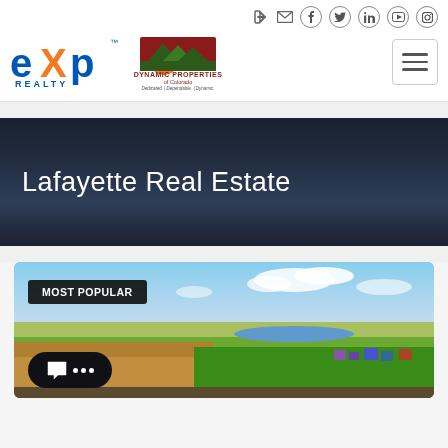[Figure (logo): eXp Realty logo and Dynamic Properties of Colorado logo in website header]
[Figure (screenshot): Website navigation header with social media icons (login, email, facebook, twitter, linkedin, youtube, instagram) and hamburger menu button]
Lafayette Real Estate
[Figure (photo): Aerial landscape photo of Lafayette Colorado showing green fields, farmland, a lake, residential area in the distance under blue sky with clouds, with MOST POPULAR badge overlay and chat button overlay]